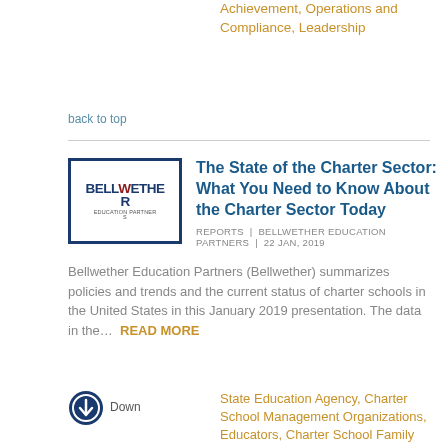Achievement, Operations and Compliance, Leadership
back to top
[Figure (logo): Bellwether Education Partners logo with dark navy border, text BELLWETHER in navy and dark red, EDUCATION PARTNERS below]
The State of the Charter Sector: What You Need to Know About the Charter Sector Today
REPORTS | BELLWETHER EDUCATION PARTNERS | 22 JAN, 2019
Bellwether Education Partners (Bellwether) summarizes policies and trends and the current status of charter schools in the United States in this January 2019 presentation. The data in the... READ MORE
State Education Agency, Charter School Management Organizations, Educators, Charter School Family and Community, Policy Makers, Discipline